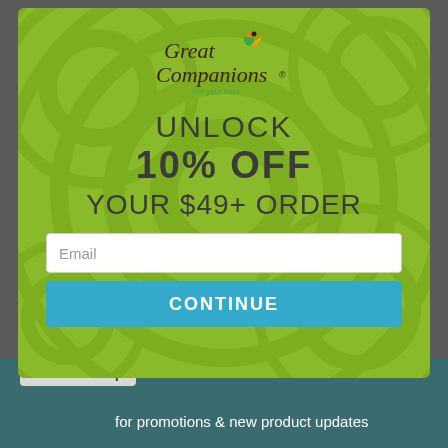[Figure (screenshot): Great Companions brand logo with stylized bird icon, italic serif text 'Great Companions' and tagline 'live your best']
UNLOCK
10% OFF
YOUR $49+ ORDER
Email
CONTINUE
↑ Back to Top
for promotions & new product updates